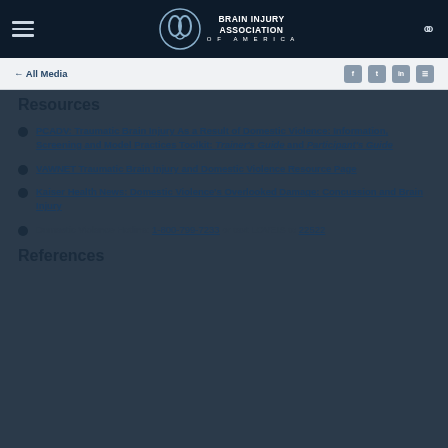Brain Injury Association of America
← All Media
Resources
PCADV: Traumatic Brain Injury As a Result of Domestic Violence: Information, Screening and Model Practices Toolkit: Trainer's Guide and Participant's Guide
VAWNET Traumatic Brain Injury and Domestic Violence Resource Page
Kaiser Health News: Domestic Violence's Overlooked Damage: Concussion and Brain Injury
Domestic Violence Hotline: 1-800-799-7233 or text LOVEIS to 22522
References